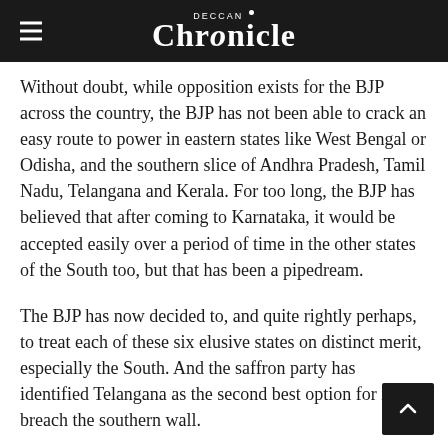DECCAN Chronicle
Without doubt, while opposition exists for the BJP across the country, the BJP has not been able to crack an easy route to power in eastern states like West Bengal or Odisha, and the southern slice of Andhra Pradesh, Tamil Nadu, Telangana and Kerala. For too long, the BJP has believed that after coming to Karnataka, it would be accepted easily over a period of time in the other states of the South too, but that has been a pipedream.
The BJP has now decided to, and quite rightly perhaps, to treat each of these six elusive states on distinct merit, especially the South. And the saffron party has identified Telangana as the second best option for it to breach the southern wall.